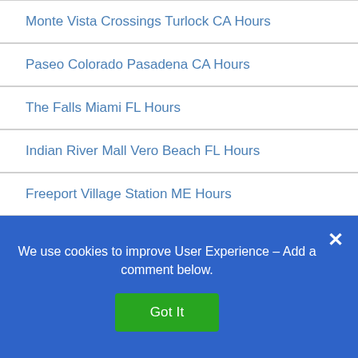Monte Vista Crossings Turlock CA Hours
Paseo Colorado Pasadena CA Hours
The Falls Miami FL Hours
Indian River Mall Vero Beach FL Hours
Freeport Village Station ME Hours
Outlets at Silverthorne CO Hours
Lake City Mall FL Hours
Novi Town Center Detroit MI Hours
Old Country Buffet Holiday Hours ~ Closed/Open
We use cookies to improve User Experience – Add a comment below.
Got It